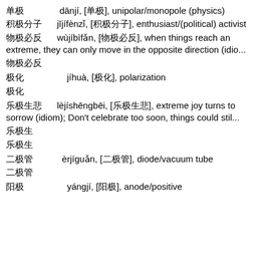单极 dānjí, [单极], unipolar/monopole (physics)
积极分子 jījífènzǐ, [积极分子], enthusiast/(political) activist
物极必反 wùjíbìfǎn, [物极必反], when things reach an extreme, they can only move in the opposite direction (idio...
物极必反
极化 jíhuà, [极化], polarization
极化
乐极生悲 lèjíshēngbēi, [乐极生悲], extreme joy turns to sorrow (idiom); Don't celebrate too soon, things could stil...
乐极生
乐极生
二极管 èrjíguǎn, [二极管], diode/vacuum tube
二极管
阳极 yángjí, [阳极], anode/positive